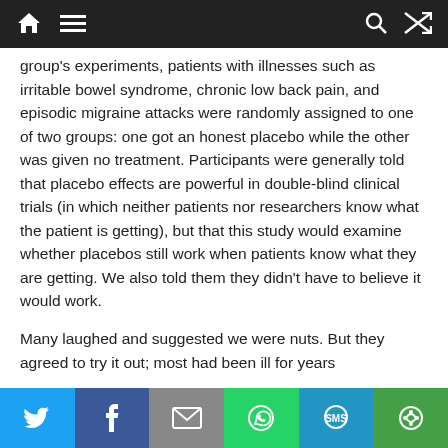Navigation bar with home, menu, search, and shuffle icons
group's experiments, patients with illnesses such as irritable bowel syndrome, chronic low back pain, and episodic migraine attacks were randomly assigned to one of two groups: one got an honest placebo while the other was given no treatment. Participants were generally told that placebo effects are powerful in double-blind clinical trials (in which neither patients nor researchers know what the patient is getting), but that this study would examine whether placebos still work when patients know what they are getting. We also told them they didn't have to believe it would work.
Many laughed and suggested we were nuts. But they agreed to try it out; most had been ill for years
Share bar: Twitter, Facebook, Email, WhatsApp, SMS, More